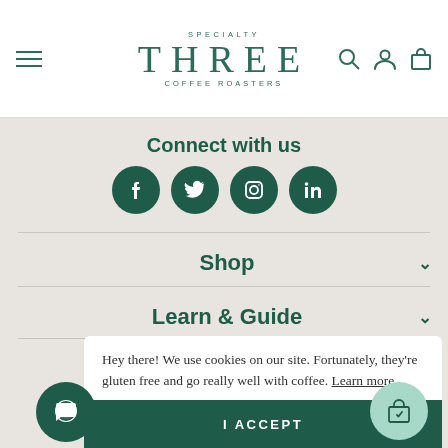SPECIALTY THREE COFFEE ROASTERS — navigation bar with hamburger menu, logo, search, account, and cart icons
Connect with us
[Figure (infographic): Four social media icons (Facebook, Twitter, Instagram, LinkedIn) as white icons on dark teal circular backgrounds]
Shop
Learn & Guide
Hey there! We use cookies on our site. Fortunately, they're gluten free and go really well with coffee. Learn more
I ACCEPT